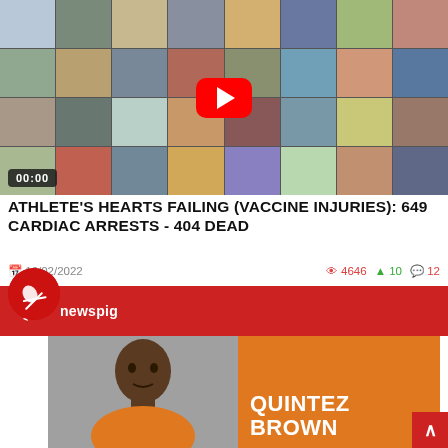[Figure (screenshot): Video thumbnail showing a grid of athlete/people photos with a YouTube-style red play button in the center and a 00:00 timestamp in the bottom left]
ATHLETE'S HEARTS FAILING (VACCINE INJURIES): 649 CARDIAC ARRESTS - 404 DEAD
16/02/2022   👁 4646  ▲ 10  💬 12
[Figure (screenshot): Red banner with newspig logo/icon and text]
[Figure (photo): Photo of a young Black man in orange clothing (mugshot style) next to an orange graphic panel with the text QUINTEZ BROWN]